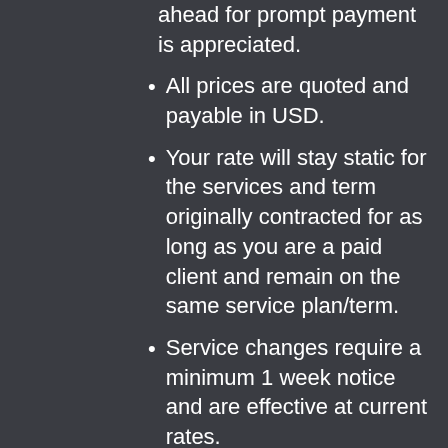ahead for prompt payment is appreciated.
All prices are quoted and payable in USD.
Your rate will stay static for the services and term originally contracted for as long as you are a paid client and remain on the same service plan/term.
Service changes require a minimum 1 week notice and are effective at current rates.
I request a minimum 30 day written notice for cancellation of services. Should you cancel with less than 30 days notice a full month's deposit will b...